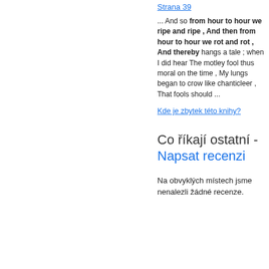Strana 39
... And so from hour to hour we ripe and ripe , And then from hour to hour we rot and rot , And thereby hangs a tale ; when I did hear The motley fool thus moral on the time , My lungs began to crow like chanticleer , That fools should ...
Kde je zbytek této knihy?
Co říkají ostatní - Napsat recenzi
Na obvyklých místech jsme nenalezli žádné recenze.